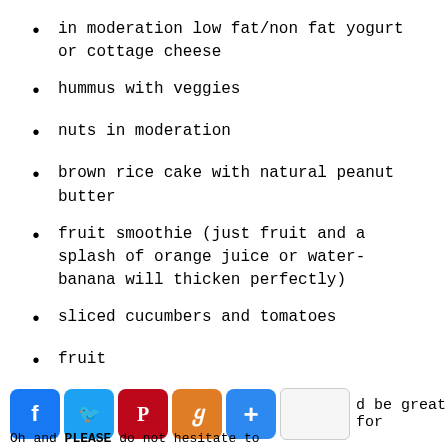in moderation low fat/non fat yogurt or cottage cheese
hummus with veggies
nuts in moderation
brown rice cake with natural peanut butter
fruit smoothie (just fruit and a splash of orange juice or water- banana will thicken perfectly)
sliced cucumbers and tomatoes
fruit
d be great for
Oh and PLEASE do not hesitate to